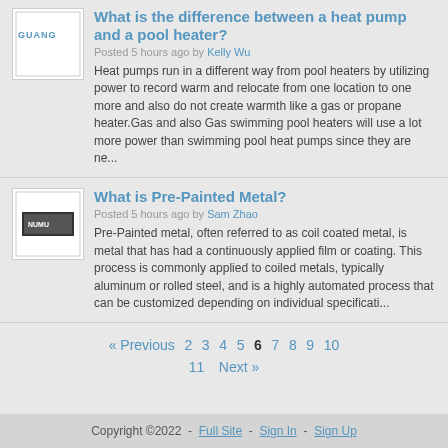What is the difference between a heat pump and a pool heater?
Posted 5 hours ago by Kelly Wu
Heat pumps run in a different way from pool heaters by utilizing power to record warm and relocate from one location to one more and also do not create warmth like a gas or propane heater.Gas and also Gas swimming pool heaters will use a lot more power than swimming pool heat pumps since they are ne...
What is Pre-Painted Metal?
Posted 5 hours ago by Sam Zhao
Pre-Painted metal, often referred to as coil coated metal, is metal that has had a continuously applied film or coating. This process is commonly applied to coiled metals, typically aluminum or rolled steel, and is a highly automated process that can be customized depending on individual specificati...
« Previous  2  3  4  5  6  7  8  9  10  11  Next »
Copyright ©2022  -  Full Site  -  Sign In  -  Sign Up